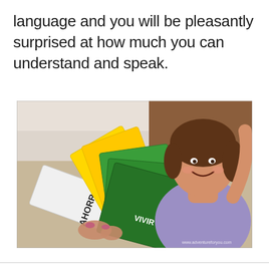language and you will be pleasantly surprised at how much you can understand and speak.
[Figure (photo): A smiling woman holding up several colored flashcards (white, yellow, and green) with Spanish verb words written on them: AHORRAR, BEBER, PARTIR, ABRIR, VIVIR. Watermark reads www.adventureforyou.com]